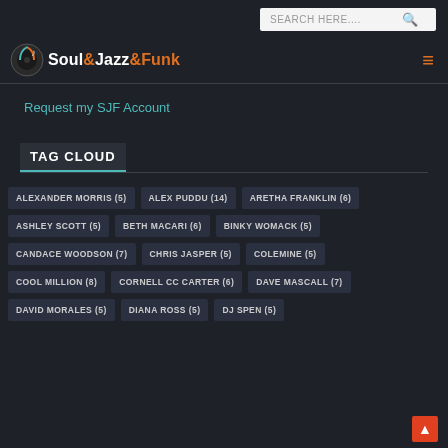[Figure (logo): Soul&Jazz&Funk website logo with music note icon]
Request my SJF Account
TAG CLOUD
ALEXANDER MORRIS (5)
ALEX PUDDU (14)
ARETHA FRANKLIN (6)
ASHLEY SCOTT (5)
BETH MACARI (6)
BINKY WOMACK (5)
CANDACE WOODSON (7)
CHRIS JASPER (5)
COLEMINE (5)
COOL MILLION (8)
CORNELL CC CARTER (6)
DAVE MASCALL (7)
DAVID MORALES (5)
DIANA ROSS (5)
DJ SPEN (5)